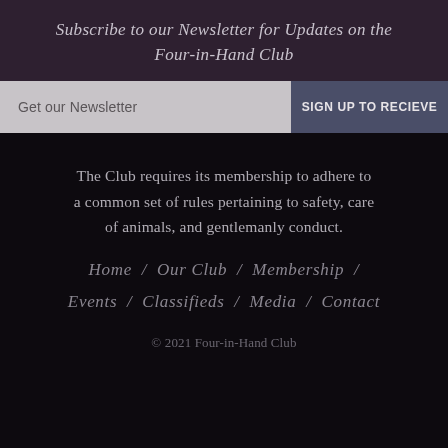Subscribe to our Newsletter for Updates on the Four-in-Hand Club
Get our Newsletter
SIGN UP TO RECIEVE
The Club requires its membership to adhere to a common set of rules pertaining to safety, care of animals, and gentlemanly conduct.
Home   /   Our Club   /   Membership   /
Events   /   Classifieds   /   Media   /   Contact
© 2021 Four-in-Hand Club